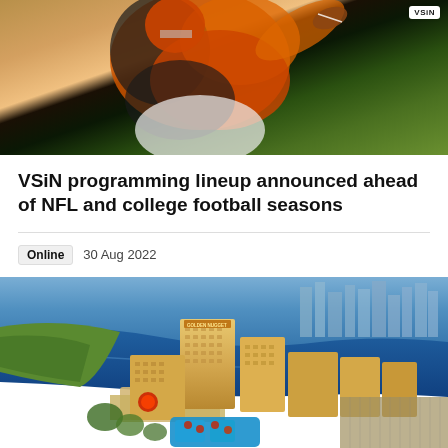[Figure (photo): Football player in orange and black uniform catching or throwing a ball, with VSiN logo badge in upper right corner]
VSiN programming lineup announced ahead of NFL and college football seasons
Online  30 Aug 2022
[Figure (photo): Aerial photograph of the Golden Nugget casino and hotel resort, showing waterway, pool area, and surrounding cityscape]